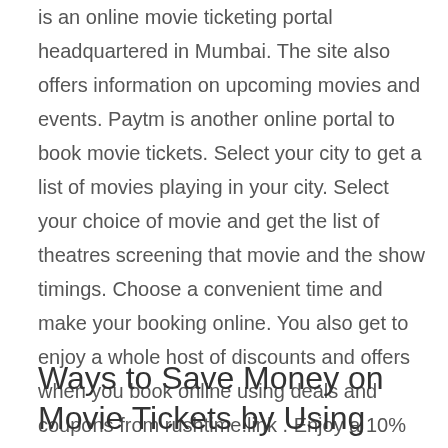is an online movie ticketing portal headquartered in Mumbai. The site also offers information on upcoming movies and events. Paytm is another online portal to book movie tickets. Select your city to get a list of movies playing in your city. Select your choice of movie and get the list of theatres screening that movie and the show timings. Choose a convenient time and make your booking online. You also get to enjoy a whole host of discounts and offers when you book online using deals and coupons from rushtime.link . Enjoy a 10% to 15% cashback on movie tickets with super saver deals and coupons.
Ways to Save Money on Movie Tickets by Using